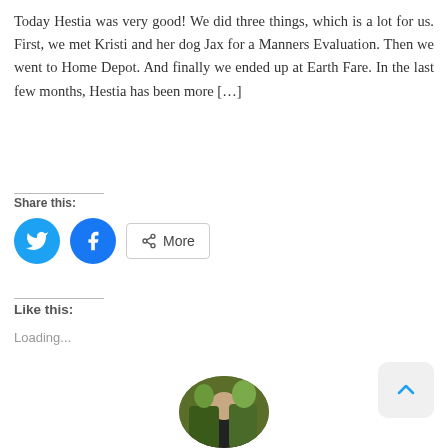Today Hestia was very good! We did three things, which is a lot for us. First, we met Kristi and her dog Jax for a Manners Evaluation. Then we went to Home Depot. And finally we ended up at Earth Fare. In the last few months, Hestia has been more […]
Share this:
[Figure (infographic): Social share buttons: Twitter (blue circle with bird icon), Facebook (blue circle with f icon), and a More button with share icon]
Like this:
Loading...
[Figure (photo): Circular profile photo showing a person outdoors near green foliage]